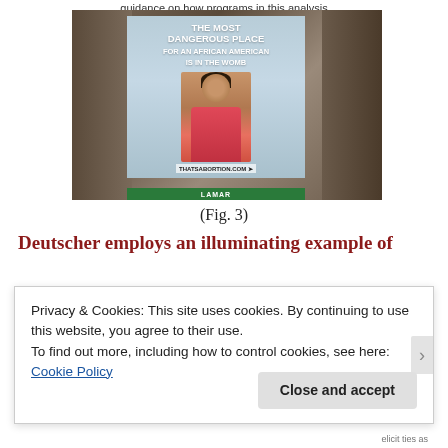...guidance on how programs in this analysis...
[Figure (photo): Billboard in an urban street setting showing the text 'THE MOST DANGEROUS PLACE FOR AN AFRICAN AMERICAN IS IN THE WOMB' with an image of a young African American girl in a pink dress. The billboard shows 'THATSABORTION.COM' and is mounted on a LAMAR advertising structure, surrounded by city buildings.]
(Fig. 3)
Deutscher employs an illuminating example of
Privacy & Cookies: This site uses cookies. By continuing to use this website, you agree to their use.
To find out more, including how to control cookies, see here: Cookie Policy
Close and accept